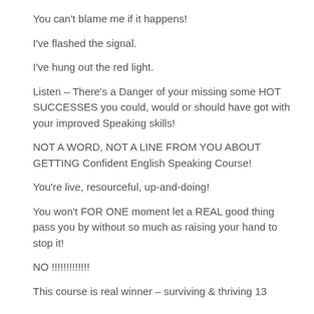You can't blame me if it happens!
I've flashed the signal.
I've hung out the red light.
Listen – There's a Danger of your missing some HOT SUCCESSES you could, would or should have got with your improved Speaking skills!
NOT A WORD, NOT A LINE FROM YOU ABOUT GETTING Confident English Speaking Course!
You're live, resourceful, up-and-doing!
You won't FOR ONE moment let a REAL good thing pass you by without so much as raising your hand to stop it!
NO !!!!!!!!!!!!!
This course is real winner – surviving & thriving 13